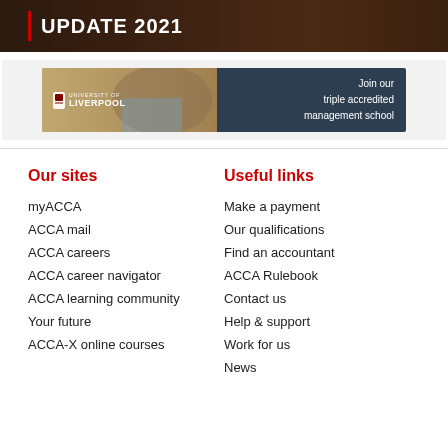[Figure (illustration): Dark brown textured banner with red vertical bar and white bold text reading UPDATE 2021]
[Figure (illustration): University of Liverpool advertisement banner with person photo on left and text 'Join our triple accredited management school' on dark blue right side]
Our sites
myACCA
ACCA mail
ACCA careers
ACCA career navigator
ACCA learning community
Your future
ACCA-X online courses
Useful links
Make a payment
Our qualifications
Find an accountant
ACCA Rulebook
Contact us
Help & support
Work for us
News